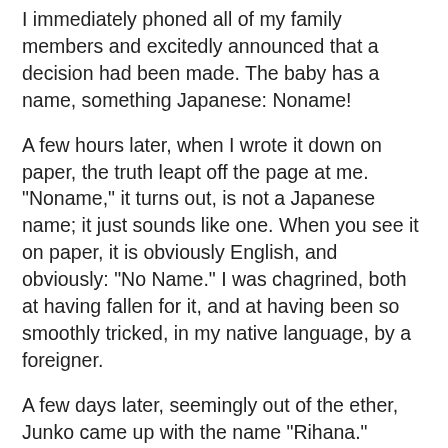I immediately phoned all of my family members and excitedly announced that a decision had been made. The baby has a name, something Japanese: Noname!
A few hours later, when I wrote it down on paper, the truth leapt off the page at me. "Noname," it turns out, is not a Japanese name; it just sounds like one. When you see it on paper, it is obviously English, and obviously: "No Name." I was chagrined, both at having fallen for it, and at having been so smoothly tricked, in my native language, by a foreigner.
A few days later, seemingly out of the ether, Junko came up with the name "Rihana."
By this time I would have said yes to "Horse Poop," in any language. I like "Rihana" but it seems an odd culmination of 10 month's worth of ruminating. It is not quite "Rihanna" which would be quickly understood most anywhere in the world, and it seems a somewhat random combination of characters to Canadians, as well as the Japanese. Every time we introduce our daughter, the response is an awkward